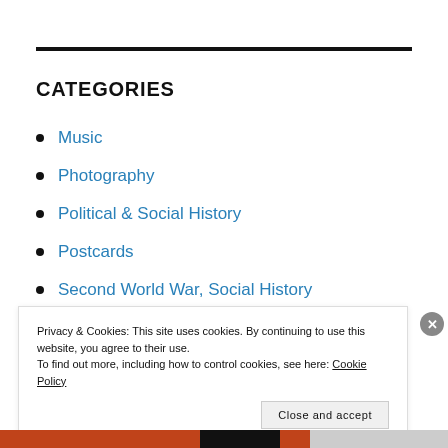CATEGORIES
Music
Photography
Political & Social History
Postcards
Second World War, Social History
Privacy & Cookies: This site uses cookies. By continuing to use this website, you agree to their use. To find out more, including how to control cookies, see here: Cookie Policy
Close and accept